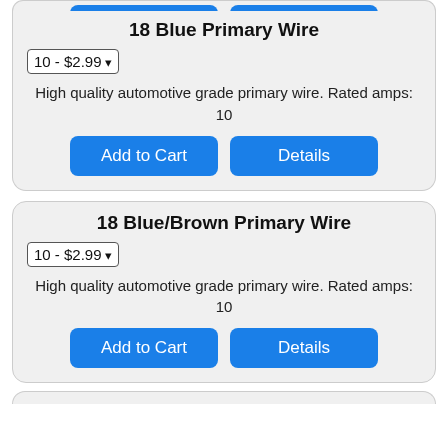[Figure (screenshot): Partial product card at top showing two blue buttons (Add to Cart, Details) cut off]
18 Blue Primary Wire
10 - $2.99
High quality automotive grade primary wire. Rated amps: 10
18 Blue/Brown Primary Wire
10 - $2.99
High quality automotive grade primary wire. Rated amps: 10